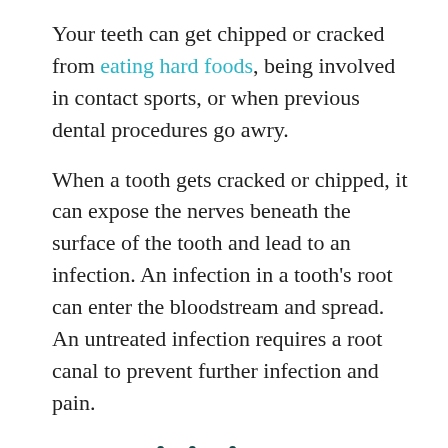Your teeth can get chipped or cracked from eating hard foods, being involved in contact sports, or when previous dental procedures go awry.
When a tooth gets cracked or chipped, it can expose the nerves beneath the surface of the tooth and lead to an infection. An infection in a tooth's root can enter the bloodstream and spread. An untreated infection requires a root canal to prevent further infection and pain.
Sensitivity To Heat or Cold